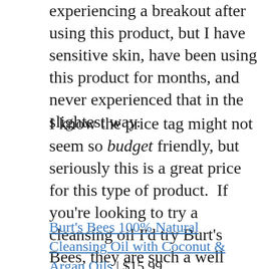experiencing a breakout after using this product, but I have sensitive skin, have been using this product for months, and never experienced that in the slightest way.
I know the price tag might not seem so budget friendly, but seriously this is a great price for this type of product.  If you're looking to try a cleansing oil I'd try Burt's Bees, they are such a well respected brand and I think this cleansing oil delivers great results!!
Burt's Bees 100% Natural Cleansing Oil with Coconut & Argan Oils | $15.99
xo.
Follow me on Instagram, Bloglovin', & Twitter ! Like Love.Life.Beauty. on Facebook!